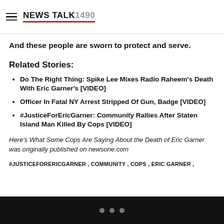NEWS TALK 1490
And these people are sworn to protect and serve.
Related Stories:
Do The Right Thing: Spike Lee Mixes Radio Raheem’s Death With Eric Garner’s [VIDEO]
Officer In Fatal NY Arrest Stripped Of Gun, Badge [VIDEO]
#JusticeForEricGarner: Community Rallies After Staten Island Man Killed By Cops [VIDEO]
Here’s What Some Cops Are Saying About the Death of Eric Garner  was originally published on newsone.com
#JUSTICEFORERICGARNER , COMMUNITY , COPS , ERIC GARNER ,
• • •